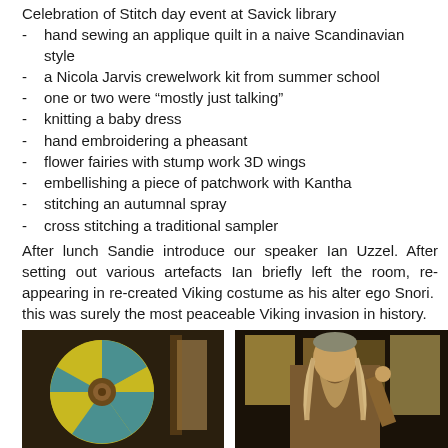Celebration of Stitch day event at Savick library
hand sewing an applique quilt in a naive Scandinavian style
a Nicola Jarvis crewelwork kit from summer school
one or two were “mostly just talking”
knitting a baby dress
hand embroidering a pheasant
flower fairies with stump work 3D wings
embellishing a piece of patchwork with Kantha
stitching an autumnal spray
cross stitching a traditional sampler
After lunch Sandie introduce our speaker Ian Uzzel. After setting out various artefacts Ian briefly left the room, re-appearing in re-created Viking costume as his alter ego Snori.  this was surely the most peaceable Viking invasion in history.
[Figure (photo): Photo of a Viking round shield with yellow and blue/teal painted sections and a central boss, displayed at the event]
[Figure (photo): Photo of a man dressed in Viking costume (Ian Uzzel as Snori) with long hair, standing in front of artefacts displayed on a wall]